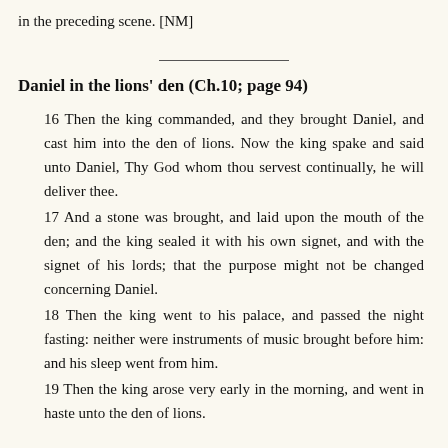in the preceding scene. [NM]
Daniel in the lions' den (Ch.10; page 94)
16 Then the king commanded, and they brought Daniel, and cast him into the den of lions. Now the king spake and said unto Daniel, Thy God whom thou servest continually, he will deliver thee.
17 And a stone was brought, and laid upon the mouth of the den; and the king sealed it with his own signet, and with the signet of his lords; that the purpose might not be changed concerning Daniel.
18 Then the king went to his palace, and passed the night fasting: neither were instruments of music brought before him: and his sleep went from him.
19 Then the king arose very early in the morning, and went in haste unto the den of lions.